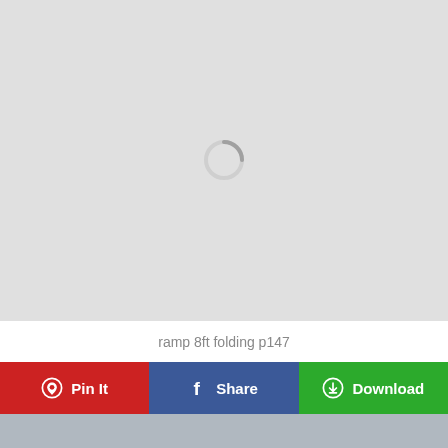[Figure (screenshot): Light gray loading area with a circular spinner/loading indicator in the center]
ramp 8ft folding p147
Pin It
Share
Download
[Figure (photo): Bottom strip showing partial thumbnails of images with red and dark colors]